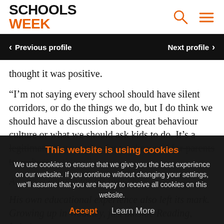SCHOOLS WEEK
< Previous profile    Next profile >
thought it was positive.
“I’m not saying every school should have silent corridors, or do the things we do, but I do think we should have a discussion about great behaviour culture or what we should ask kids to do. It’s a legitimate conversation for teachers and for parents too – beca... things”
A... po... enough for his own chi...
His own educational experience also left its mark. Growing up in Woodley, just outside Reading, Lehain...
This website is using cookies
We use cookies to ensure that we give you the best experience on our website. If you continue without changing your settings, we’ll assume that you are happy to receive all cookies on this website.
Accept    Learn More